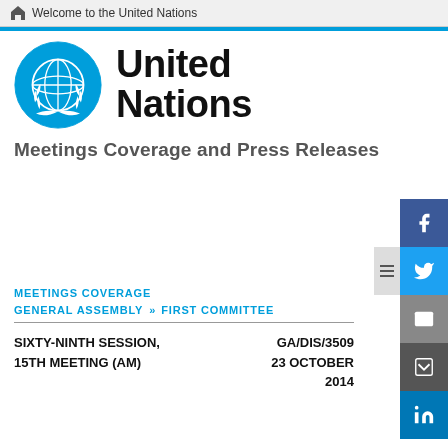Welcome to the United Nations
[Figure (logo): United Nations emblem and wordmark logo]
Meetings Coverage and Press Releases
MEETINGS COVERAGE
GENERAL ASSEMBLY >> FIRST COMMITTEE
SIXTY-NINTH SESSION, 15TH MEETING (AM)   GA/DIS/3509   23 OCTOBER 2014